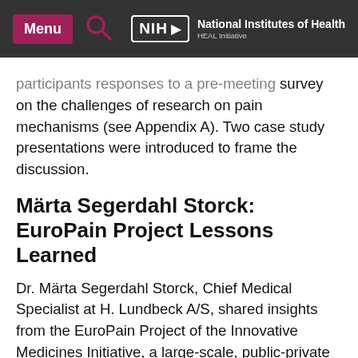Menu | NIH National Institutes of Health HEAL Initiative
participants responses to a pre-meeting survey on the challenges of research on pain mechanisms (see Appendix A). Two case study presentations were introduced to frame the discussion.
Märta Segerdahl Storck: EuroPain Project Lessons Learned
Dr. Märta Segerdahl Storck, Chief Medical Specialist at H. Lundbeck A/S, shared insights from the EuroPain Project of the Innovative Medicines Initiative, a large-scale, public-private partnership between